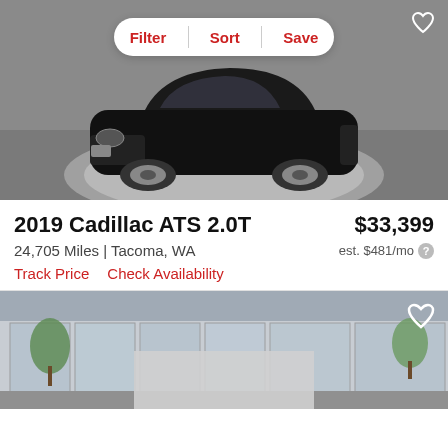[Figure (photo): Black 2019 Cadillac ATS 2.0T sedan on a circular display turntable in a showroom, front three-quarter view. A white pill-shaped toolbar with Filter, Sort, Save buttons in red text is overlaid at the top center. A heart icon is at the top right corner.]
2019 Cadillac ATS 2.0T
$33,399
24,705 Miles | Tacoma, WA
est. $481/mo
Track Price   Check Availability
[Figure (photo): Partial view of a second car listing showing a dealership exterior building with glass facade and trees, partially obscured by a blurred/loading rectangle at the bottom center. Heart icon at top right.]